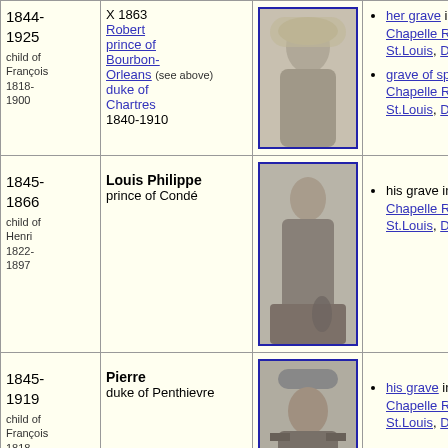| Dates | Name/Spouse | Photo | Links |
| --- | --- | --- | --- |
| 1844-1925
child of François 1818-1900 | X 1863 Robert prince of Bourbon-Orleans (see above) duke of Chartres 1840-1910 | [photo] | her grave in the Chapelle Royale St.Louis, Dreux.
grave of spouse in the Chapelle Royale St.Louis, Dreux. |
| 1845-1866
child of Henri 1822-1897 | Louis Philippe prince of Condé | [photo] | his grave in the Chapelle Royale St.Louis, Dreux. |
| 1845-1919
child of François 1818-1900 | Pierre duke of Penthievre | [photo] | his grave in the Chapelle Royale St.Louis, Dreux. |